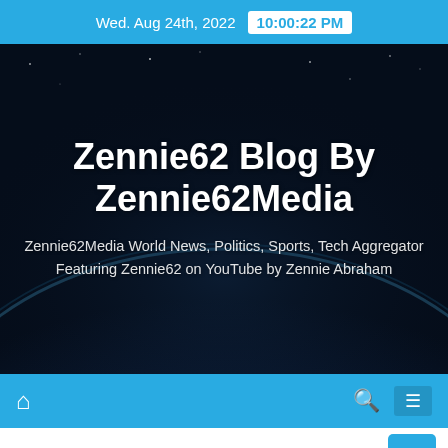Wed. Aug 24th, 2022  10:00:22 PM
Zennie62 Blog By Zennie62Media
Zennie62Media World News, Politics, Sports, Tech Aggregator Featuring Zennie62 on YouTube by Zennie Abraham
Tag: Stars Oscar Party